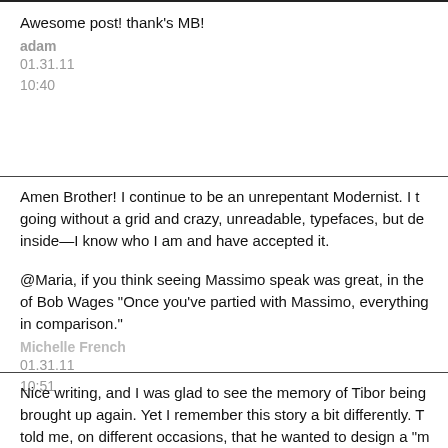Awesome post! thank's MB!
adam
01.31.11
10:40
Amen Brother! I continue to be an unrepentant Modernist. I t going without a grid and crazy, unreadable, typefaces, but de inside—I know who I am and have accepted it.

@Maria, if you think seeing Massimo speak was great, in the of Bob Wages "Once you've partied with Massimo, everything in comparison."
Michelle French
01.31.11
10:51
Nice writing, and I was glad to see the memory of Tibor being brought up again. Yet I remember this story a bit differently. T told me, on different occasions, that he wanted to design a "m book, and THAT book of course had to be fucked up a bit. Ju